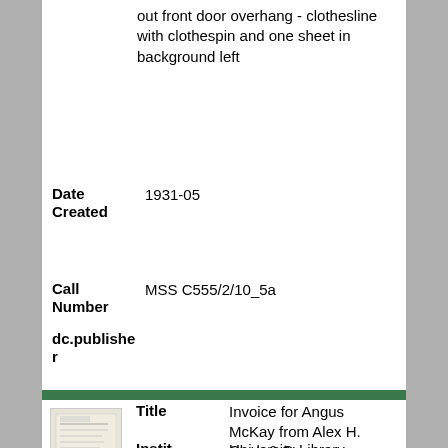out front door overhang - clothesline with clothespin and one sheet in background left
Date Created: 1931-05
Call Number: MSS C555/2/10_5a
dc.publisher
[Figure (photo): Thumbnail image of an invoice document]
Title: Invoice for Angus McKay from Alex H. Clark & Co.:
Instit: University Library,